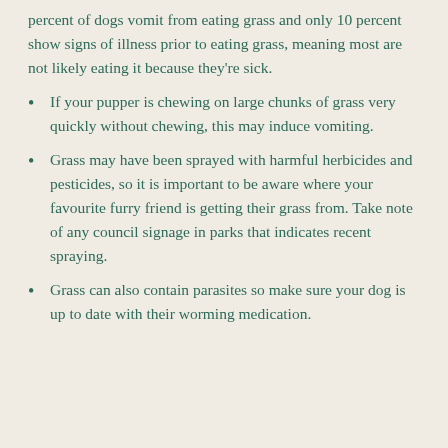percent of dogs vomit from eating grass and only 10 percent show signs of illness prior to eating grass, meaning most are not likely eating it because they're sick.
If your pupper is chewing on large chunks of grass very quickly without chewing, this may induce vomiting.
Grass may have been sprayed with harmful herbicides and pesticides, so it is important to be aware where your favourite furry friend is getting their grass from. Take note of any council signage in parks that indicates recent spraying.
Grass can also contain parasites so make sure your dog is up to date with their worming medication.